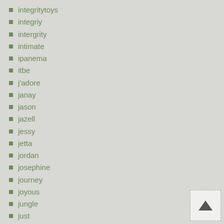integritytoys
integriy
intergrity
intimate
ipanema
itbe
j'adore
janay
jason
jazell
jessy
jetta
jordan
josephine
journey
joyous
jungle
just
karma